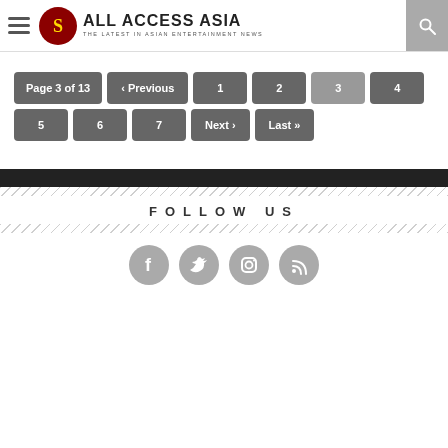ALL ACCESS ASIA — THE LATEST IN ASIAN ENTERTAINMENT NEWS
Page 3 of 13 · Previous · 1 · 2 · 3 · 4 · 5 · 6 · 7 · Next › · Last »
FOLLOW US
[Figure (infographic): Social media icons: Facebook, Twitter, Instagram, RSS feed]